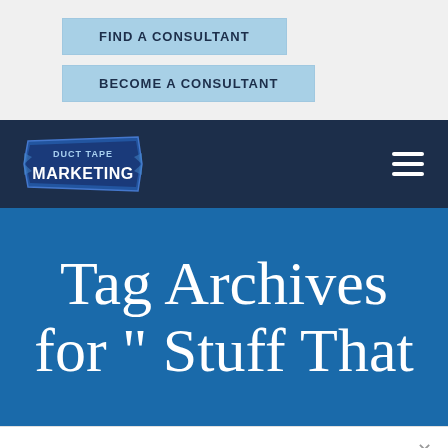FIND A CONSULTANT
BECOME A CONSULTANT
[Figure (logo): Duct Tape Marketing logo — banner-style logo with 'DUCT TAPE MARKETING' text in blue and white on a ribbon/tape graphic]
Tag Archives for " Stuff That
Which of these best describes you?
Click to answer